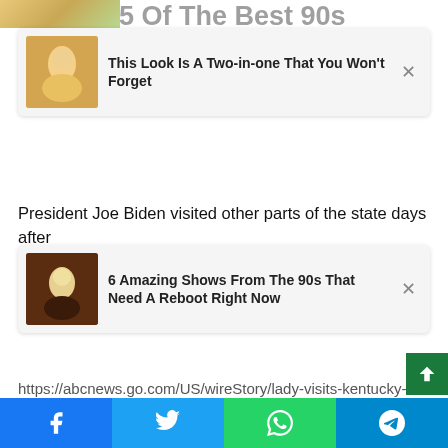[Figure (screenshot): Top background image strip partially visible at top-left]
[Figure (screenshot): Ad overlay card 1: 'This Look Is A Two-in-one That You Won't Forget' with thumbnail of woman in yellow bikini]
President Joe Biden visited other parts of the state days after
[Figure (screenshot): Ad overlay card 2: '6 Amazing Shows From The 90s That Need A Reboot Right Now' with thumbnail of blonde woman]
ies, hit and promised that the federal government would help the Appalachian Kentucky Beshear has said clearing debris from major hurricanes could take until April and cost tens of millions of dollars.
https://abcnews.go.com/US/wireStory/lady-visits-kentucky-neighborhood-struck-tornado-82275830 First Lady visits tornado-hit Kentucky neighborhood
[Figure (infographic): Green back-to-top arrow button at bottom right]
[Figure (infographic): Social share footer bar with Facebook, Twitter, WhatsApp, Telegram buttons]